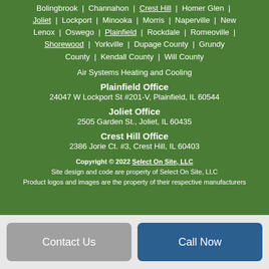Bolingbrook | Channahon | Crest Hill | Homer Glen | Joliet | Lockport | Minooka | Morris | Naperville | New Lenox | Oswego | Plainfield | Rockdale | Romeoville | Shorewood | Yorkville | Dupage County | Grundy County | Kendall County | Will County
Air Systems Heating and Cooling
Plainfield Office
24047 W Lockport St #201-V, Plainfield, IL 60544
Joliet Office
2505 Garden St., Joliet, IL 60435
Crest Hill Office
2386 Jorie Ct. #3, Crest Hill, IL 60403
Copyright © 2022 Select On Site, LLC
Site design and code are property of Select On Site, LLC
Product logos and images are the property of their respective manufacturers